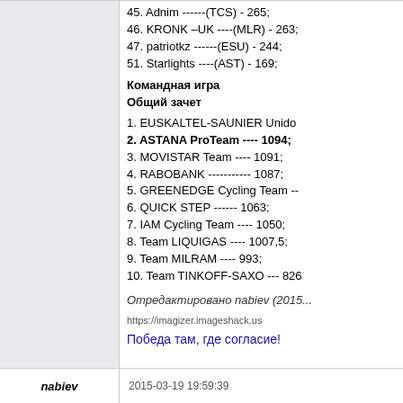45. Adnim ------(TCS) - 265;
46. KRONK –UK ----(MLR) - 263;
47. patriotkz ------(ESU) - 244;
51. Starlights ----(AST) - 169;
Командная игра
Общий зачет
1. EUSKALTEL-SAUNIER Unido
2. ASTANA ProTeam ---- 1094;
3. MOVISTAR Team ---- 1091;
4. RABOBANK ----------- 1087;
5. GREENEDGE Cycling Team --
6. QUICK STEP ------ 1063;
7. IAM Cycling Team ---- 1050;
8. Team LIQUIGAS ---- 1007,5;
9. Team MILRAM ---- 993;
10. Team TINKOFF-SAXO --- 826
Отредактировано nabiev (2015...
[Figure (other): Broken image placeholder linking to imagizer.imageshack.us]
Победа там, где согласие!
nabiev
2015-03-19 19:59:39